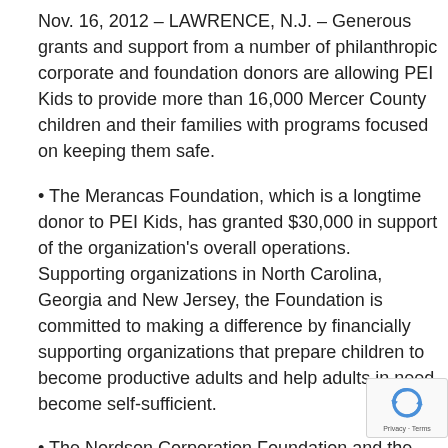Nov. 16, 2012 – LAWRENCE, N.J. – Generous grants and support from a number of philanthropic corporate and foundation donors are allowing PEI Kids to provide more than 16,000 Mercer County children and their families with programs focused on keeping them safe.
• The Merancas Foundation, which is a longtime donor to PEI Kids, has granted $30,000 in support of the organization's overall operations. Supporting organizations in North Carolina, Georgia and New Jersey, the Foundation is committed to making a difference by financially supporting organizations that prepare children to become productive adults and help adults in need become self-sufficient.
• The Nordson Corporation Foundation and the Church & Dwight Co., Inc. Employee Giving Fund (EGF) donated and $7,500 respectively to support PEI Kids' Comprehensive Juvenile Offenders Outreach Services (CJOOS), a court-